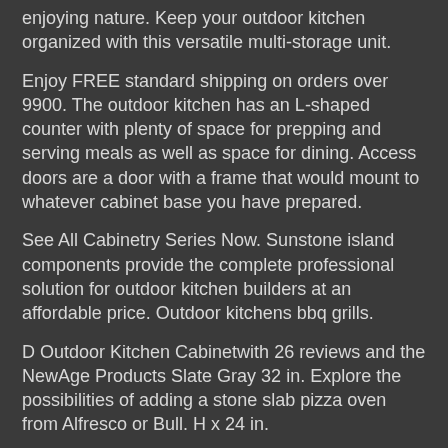enjoying nature. Keep your outdoor kitchen organized with this versatile multi-storage unit.
Enjoy FREE standard shipping on orders over 9900. The outdoor kitchen has an L-shaped counter with plenty of space for prepping and serving meals as well as space for dining. Access doors are a door with a frame that would mount to whatever cabinet base you have prepared.
See All Cabinetry Series Now. Sunstone island components provide the complete professional solution for outdoor kitchen builders at an affordable price. Outdoor kitchens bbq grills.
D Outdoor Kitchen Cabinetwith 26 reviews and the NewAge Products Slate Gray 32 in. Explore the possibilities of adding a stone slab pizza oven from Alfresco or Bull. H x 24 in.
Take your outdoor cooking area to the next level with Outdoor Kitchen Storage from The Outdoor Store. Outdoor Kitchen Storage Tags. A grill is just the beginning of your outdoor cooking experience.